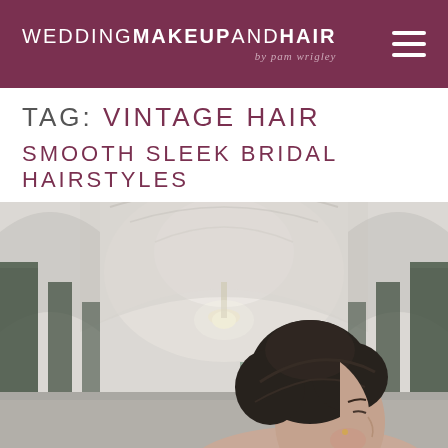WEDDING MAKEUP AND HAIR by pam wrigley
TAG: VINTAGE HAIR
SMOOTH SLEEK BRIDAL HAIRSTYLES
[Figure (photo): A bride with dark hair styled in a sleek updo, photographed from the side in an elegant hall with arched ceilings, columns, and soft natural light]